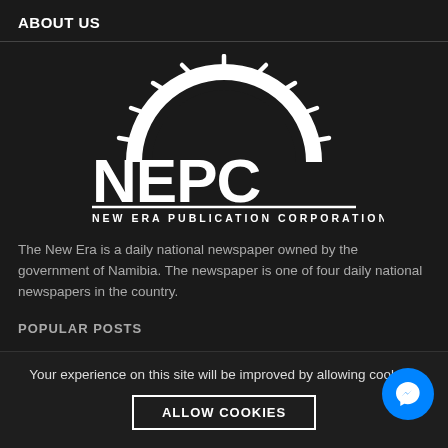ABOUT US
[Figure (logo): NEPC New Era Publication Corporation logo — white sun/semicircle icon above bold white letters NEPC, with NEW ERA PUBLICATION CORPORATION printed below in wide spaced caps, all on dark background]
The New Era is a daily national newspaper owned by the government of Namibia. The newspaper is one of four daily national newspapers in the country.
POPULAR POSTS
Your experience on this site will be improved by allowing cookies.
ALLOW COOKIES